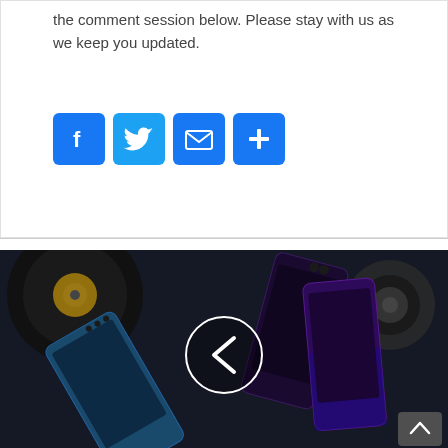the comment session below. Please stay with us as we keep you updated.
[Figure (other): Social share buttons: Facebook (blue), Twitter (blue), Email (blue envelope), Share/More (blue plus sign)]
[Figure (photo): Dark-themed photo showing two smartphones lying on a wooden surface alongside a vinyl record and headphones. A circular navigation arrow (chevron left) overlay is visible in the center of the image. A back-to-top arrow button is visible at the bottom right.]